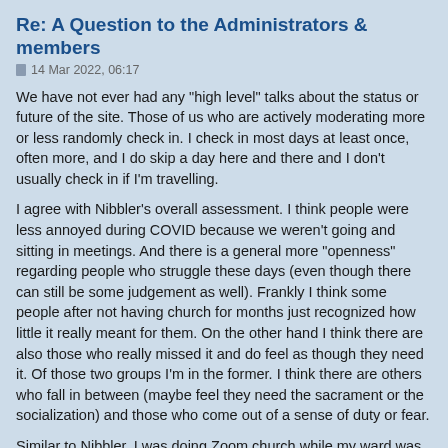Re: A Question to the Administrators & members
14 Mar 2022, 06:17
We have not ever had any "high level" talks about the status or future of the site. Those of us who are actively moderating more or less randomly check in. I check in most days at least once, often more, and I do skip a day here and there and I don't usually check in if I'm travelling.
I agree with Nibbler's overall assessment. I think people were less annoyed during COVID because we weren't going and sitting in meetings. And there is a general more "openness" regarding people who struggle these days (even though there can still be some judgement as well). Frankly I think some people after not having church for months just recognized how little it really meant for them. On the other hand I think there are also those who really missed it and do feel as though they need it. Of those two groups I'm in the former. I think there are others who fall in between (maybe feel they need the sacrament or the socialization) and those who come out of a sense of duty or fear.
Similar to Nibbler, I was doing Zoom church while my ward was doing it and even went a few weeks after they stopped until I didn't feel as though they really had my COVID safety in mind. I have not been back, and I'm not sure when I will be. FWIW, my ward did have a church related COVID outbreak during this time when I haven't been going.